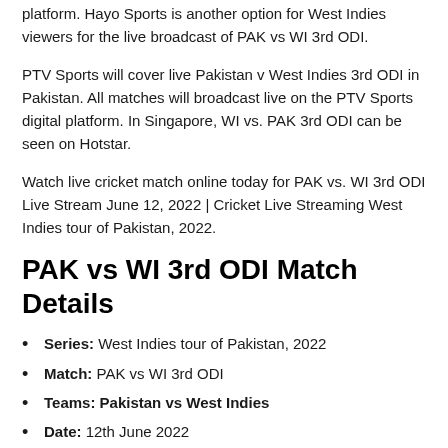platform. Hayo Sports is another option for West Indies viewers for the live broadcast of PAK vs WI 3rd ODI.
PTV Sports will cover live Pakistan v West Indies 3rd ODI in Pakistan. All matches will broadcast live on the PTV Sports digital platform. In Singapore, WI vs. PAK 3rd ODI can be seen on Hotstar.
Watch live cricket match online today for PAK vs. WI 3rd ODI Live Stream June 12, 2022 | Cricket Live Streaming West Indies tour of Pakistan, 2022.
PAK vs WI 3rd ODI Match Details
Series: West Indies tour of Pakistan, 2022
Match: PAK vs WI 3rd ODI
Teams: Pakistan vs West Indies
Date: 12th June 2022
Time: 11:00 AM GMT / 04:00 PM LOCAL / 04:30 PM IST
Venue: Rawalpindi Cricket Stadium (Rawalpindi)